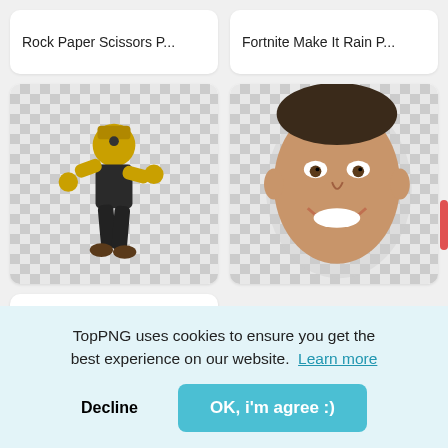Rock Paper Scissors P...
Fortnite Make It Rain P...
[Figure (illustration): Fortnite character in yellow armor doing a dance pose on a checkered transparent background]
[Figure (photo): Close-up photo of a young man's smiling face cut out on a checkered transparent background]
You
TopPNG uses cookies to ensure you get the best experience on our website. Learn more
Decline
OK, i'm agree :)